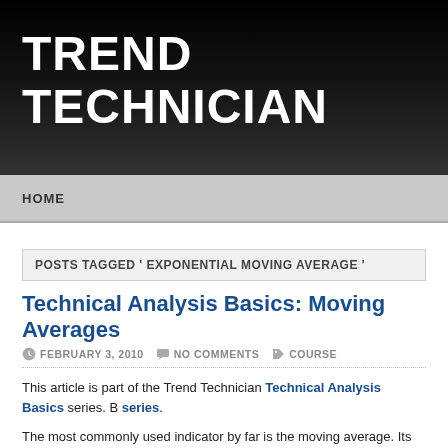TREND TECHNICIAN
HOME
POSTS TAGGED ' EXPONENTIAL MOVING AVERAGE '
Technical Analysis Basics: Moving Averages
FEBRUARY 3, 2010   NO COMMENTS   COURSE
This article is part of the Trend Technician Technical Analysis Basics series. B... series.
The most commonly used indicator by far is the moving average. Its value is ea... one of the least controversial indicators. Almost any trader will agree to the valu...
Moving Average Basics